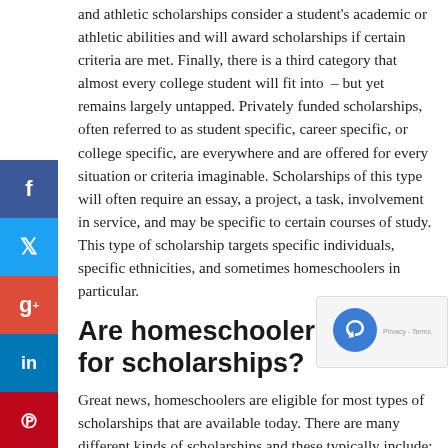and athletic scholarships consider a student's academic or athletic abilities and will award scholarships if certain criteria are met. Finally, there is a third category that almost every college student will fit into – but yet remains largely untapped. Privately funded scholarships, often referred to as student specific, career specific, or college specific, are everywhere and are offered for every situation or criteria imaginable. Scholarships of this type will often require an essay, a project, a task, involvement in service, and may be specific to certain courses of study. This type of scholarship targets specific individuals, specific ethnicities, and sometimes homeschoolers in particular.
Are homeschoolers eligible for scholarships?
Great news, homeschoolers are eligible for most types of scholarships that are available today. There are many different kinds of scholarships and these typically include:
Need Based Scholarships are scholarships open for all students including homeschooled schooled students and are federally subsidized programs. However, the state offered scholarships may have specific requirements for homeschoolers. Often, this will include proving themselves for a semester or a certain number of attempted credit hours. Familiarize yourself with your state's financial aid guidelines